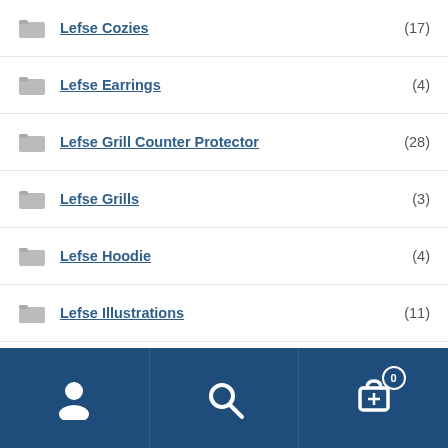Lefse Cozies (17)
Lefse Earrings (4)
Lefse Grill Counter Protector (28)
Lefse Grills (3)
Lefse Hoodie (4)
Lefse Illustrations (11)
Lefse Lutefisk T-Shirts (2)
Lefse Mask (6)
Lefse Serving Platters (16)
Lefse Turning Sticks (28)
Lutefisk Greeting Cards (3)
Lutlefisk Lip Balm (1)
Navigation bar with user, search, and cart (0) icons